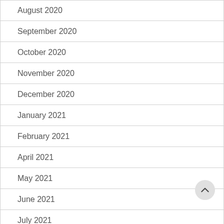August 2020
September 2020
October 2020
November 2020
December 2020
January 2021
February 2021
April 2021
May 2021
June 2021
July 2021